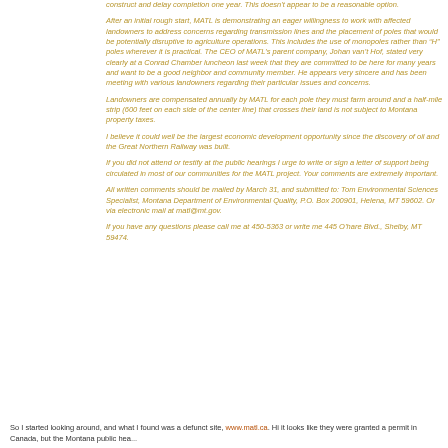construct and delay completion one year. This doesn't appear to be a reasonable option.
After an initial rough start, MATL is demonstrating an eager willingness to work with affected landowners to address concerns regarding transmission lines and the placement of poles that would be potentially disruptive to agriculture operations. This includes the use of monopoles rather than "H" poles wherever it is practical. The CEO of MATL's parent company, Johan van't Hof, stated very clearly at a Conrad Chamber luncheon last week that they are committed to be here for many years and want to be a good neighbor and community member. He appears very sincere and has been meeting with various landowners regarding their particular issues and concerns.
Landowners are compensated annually by MATL for each pole they must farm around and a half-mile strip (600 feet on each side of the center line) that crosses their land is not subject to Montana property taxes.
I believe it could well be the largest economic development opportunity since the discovery of oil and the Great Northern Railway was built.
If you did not attend or testify at the public hearings I urge to write or sign a letter of support being circulated in most of our communities for the MATL project. Your comments are extremely important.
All written comments should be mailed by March 31, and submitted to: Tom Environmental Sciences Specialist, Montana Department of Environmental Quality, P.O. Box 200901, Helena, MT 59602. Or via electronic mail at matl@mt.gov.
If you have any questions please call me at 450-5363 or write me 445 O'Hare Blvd., Shelby, MT 59474.
So I started looking around, and what I found was a defunct site, www.matl.ca. Hi it looks like they were granted a permit in Canada, but the Montana public hea...